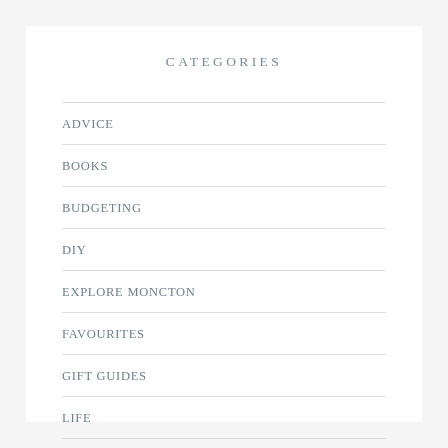CATEGORIES
ADVICE
BOOKS
BUDGETING
DIY
EXPLORE MONCTON
FAVOURITES
GIFT GUIDES
LIFE